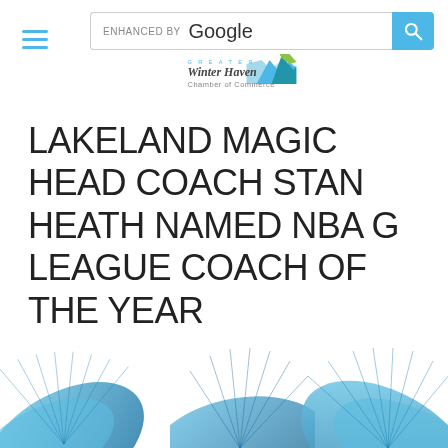ENHANCED BY Google [search bar] | Winter Haven Chamber of Commerce
LAKELAND MAGIC HEAD COACH STAN HEATH NAMED NBA G LEAGUE COACH OF THE YEAR
3/18/2021   0 COMMENTS
The NBA G League announced on March 17, that Lakeland Magic Head Coach Stan Heath has been named 2020-21 NBA G League Dennis Johnson Coach of the Year. Heath earned the honor in a
[Figure (illustration): Blue tropical palm leaf decorative images at bottom of page, three partial palm fronds visible]